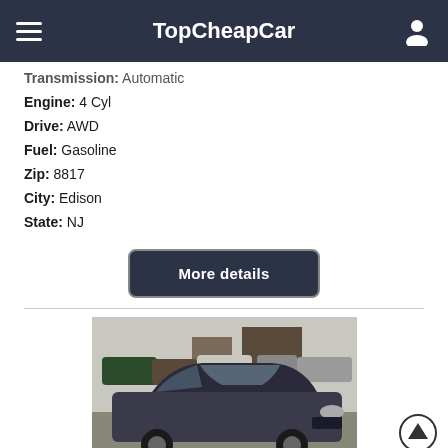TopCheapCar
Transmission: Automatic
Engine: 4 Cyl
Drive: AWD
Fuel: Gasoline
Zip: 8817
City: Edison
State: NJ
More details
[Figure (photo): Photo of a dark-colored sedan (Audi or similar) in a car dealership parking lot, with other vehicles visible in the background.]